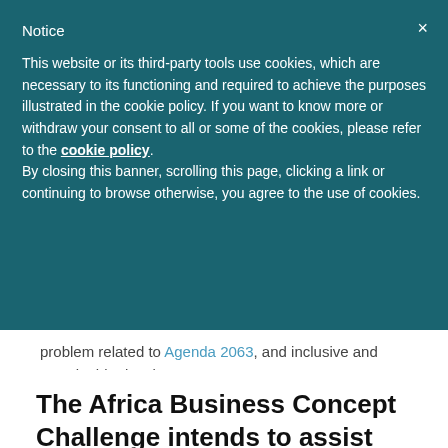Notice
This website or its third-party tools use cookies, which are necessary to its functioning and required to achieve the purposes illustrated in the cookie policy. If you want to know more or withdraw your consent to all or some of the cookies, please refer to the cookie policy.
By closing this banner, scrolling this page, clicking a link or continuing to browse otherwise, you agree to the use of cookies.
problem related to Agenda 2063, and inclusive and sustainable development.
The Africa Business Concept Challenge intends to assist young people from the African continent